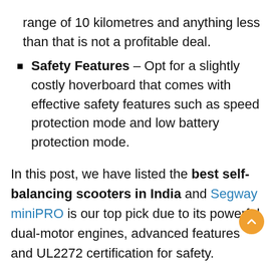range of 10 kilometres and anything less than that is not a profitable deal.
Safety Features – Opt for a slightly costly hoverboard that comes with effective safety features such as speed protection mode and low battery protection mode.
In this post, we have listed the best self-balancing scooters in India and Segway miniPRO is our top pick due to its powerful dual-motor engines, advanced features and UL2272 certification for safety.
Best Electric Skateboard above 30000 Rupees